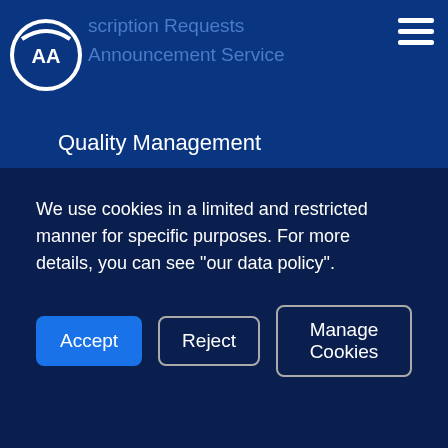AA logo / Subscription Requests / Announcement Service navigation header
Quality Management
Privacy and Cookies Policy
Information Policy
Diary
Network
Company News
Finance Terminal
Anadolu Images
Energy Terminal
We use cookies in a limited and restricted manner for specific purposes. For more details, you can see "our data policy".
Accept | Reject | Manage Cookies